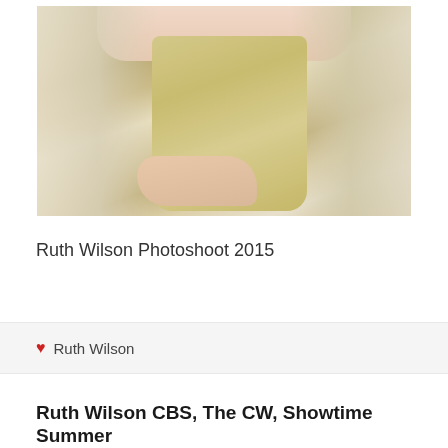[Figure (photo): Close-up photo of a person wearing a vintage cream/beige corset with lace overlay garment]
Ruth Wilson Photoshoot 2015
❤ Ruth Wilson
Ruth Wilson CBS, The CW, Showtime Summer